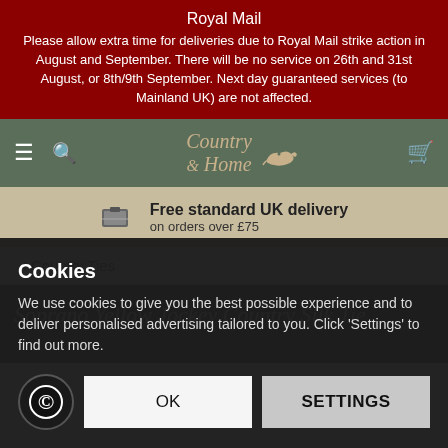Royal Mail
Please allow extra time for deliveries due to Royal Mail strike action in August and September. There will be no service on 26th and 31st August, or 8th/9th September. Next day guaranteed services (to Mainland UK) are not affected.
[Figure (logo): Country & Home logo with pheasant bird graphic on green navigation bar]
Free standard UK delivery on orders over £75
< Country Ties
Soprano Yellow Jockey Country Silk Tie
Cookies
We use cookies to give you the best possible experience and to deliver personalised advertising tailored to you. Click 'Settings' to find out more.
OK
SETTINGS